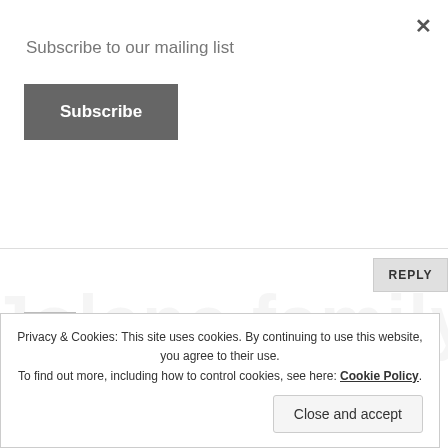Subscribe to our mailing list
Subscribe
REPLY
Jolene and Family on May 8, 2011 at 11:22 pm
I have to go with Theo and looks like I'm not the only one with amazing taste 🙂
Privacy & Cookies: This site uses cookies. By continuing to use this website, you agree to their use. To find out more, including how to control cookies, see here: Cookie Policy.
Close and accept